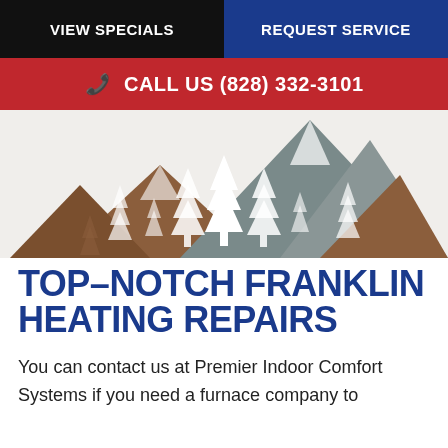VIEW SPECIALS | REQUEST SERVICE
CALL US (828) 332-3101
[Figure (illustration): Mountain and pine tree landscape logo/illustration with brown and gray mountain shapes and white silhouette pine trees against a white background]
TOP-NOTCH FRANKLIN HEATING REPAIRS
You can contact us at Premier Indoor Comfort Systems if you need a furnace company to